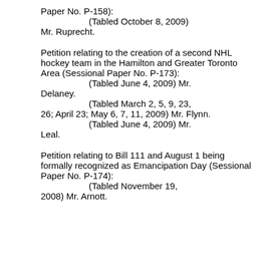Paper No. P-158):
(Tabled October 8, 2009) Mr. Ruprecht.
Petition relating to the creation of a second NHL hockey team in the Hamilton and Greater Toronto Area (Sessional Paper No. P-173):
(Tabled June 4, 2009) Mr. Delaney.
(Tabled March 2, 5, 9, 23, 26; April 23; May 6, 7, 11, 2009) Mr. Flynn.
(Tabled June 4, 2009) Mr. Leal.
Petition relating to Bill 111 and August 1 being formally recognized as Emancipation Day (Sessional Paper No. P-174):
(Tabled November 19, 2008) Mr. Arnott.